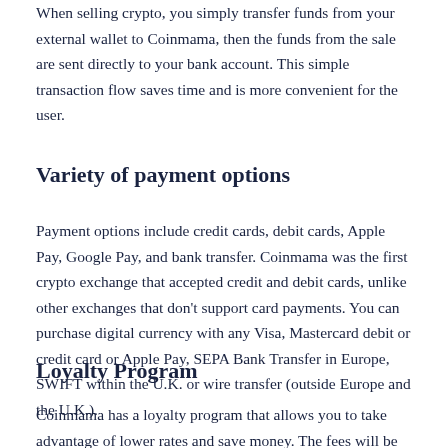When selling crypto, you simply transfer funds from your external wallet to Coinmama, then the funds from the sale are sent directly to your bank account. This simple transaction flow saves time and is more convenient for the user.
Variety of payment options
Payment options include credit cards, debit cards, Apple Pay, Google Pay, and bank transfer. Coinmama was the first crypto exchange that accepted credit and debit cards, unlike other exchanges that don't support card payments. You can purchase digital currency with any Visa, Mastercard debit or credit card or Apple Pay, SEPA Bank Transfer in Europe, SWIFT within the U.K. or wire transfer (outside Europe and the U.K.).
Loyalty Program
Coinmama has a loyalty program that allows you to take advantage of lower rates and save money. The fees will be